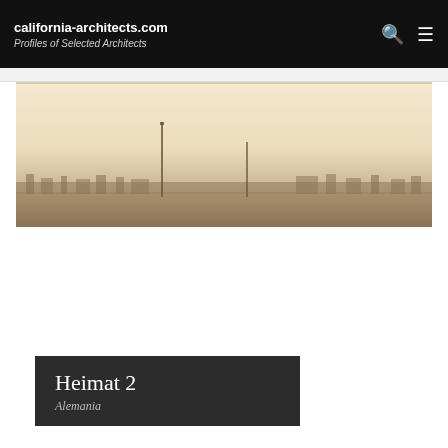california-architects.com
Profiles of Selected Architects
[Figure (photo): Wide panoramic cityscape photo with warm sepia/sunset tones showing a flat urban skyline with a tall antenna/tower in the center-left area, photographed from an elevated vantage point.]
Heimat 2
Alemania